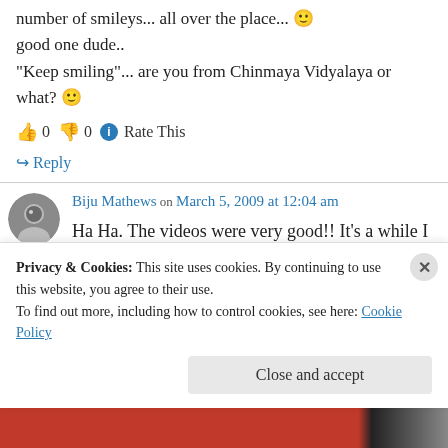number of smileys... all over the place... 🙂 good one dude.. "Keep smiling"... are you from Chinmaya Vidyalaya or what? 🙂
👍 0 👎 0 ℹ Rate This
↪ Reply
Biju Mathews on March 5, 2009 at 12:04 am
Ha Ha. The videos were very good!! It's a while I read the Calvin and Hobbes 🙂
Privacy & Cookies: This site uses cookies. By continuing to use this website, you agree to their use. To find out more, including how to control cookies, see here: Cookie Policy
Close and accept